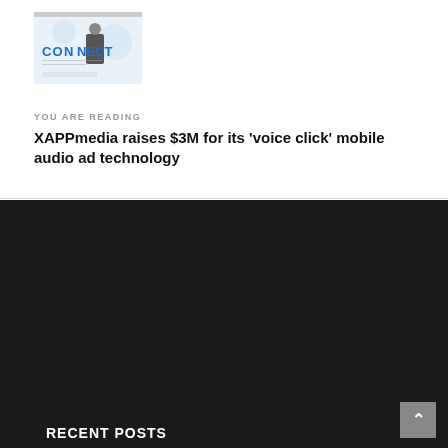[Figure (photo): CONNECT event banner image with a business person and CONNECT text in blue]
YOU ARE READING
XAPPmedia raises $3M for its ‘voice click’ mobile audio ad technology
RECENT POSTS
[Figure (logo): SimpliRoute company logo on blue background]
Chile's SimpliRoute into US and Canada with new WalMart deal
[Figure (photo): Person holding tablet device, warm toned photo]
Founders take note: ULTRA can help you scale your cloud practice